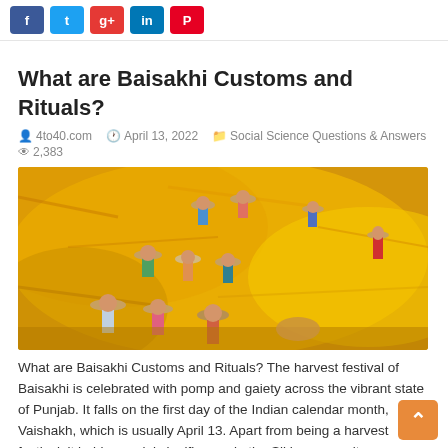[Figure (screenshot): Social sharing buttons bar: Facebook (blue), Twitter (cyan), G+ (red), LinkedIn (blue), Pinterest (red)]
What are Baisakhi Customs and Rituals?
4to40.com   April 13, 2022   Social Science Questions & Answers   2,383
[Figure (illustration): Painting depicting people in straw hats working in a bright yellow harvest field, Baisakhi harvest festival scene.]
What are Baisakhi Customs and Rituals? The harvest festival of Baisakhi is celebrated with pomp and gaiety across the vibrant state of Punjab. It falls on the first day of the Indian calendar month, Vaishakh, which is usually April 13. Apart from being a harvest festival, it holds special significance in the Sikh community, as